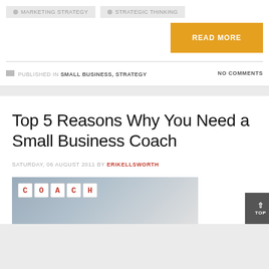MARKETING STRATEGY    STRATEGIC THINKING
READ MORE
PUBLISHED IN SMALL BUSINESS, STRATEGY    NO COMMENTS
Top 5 Reasons Why You Need a Small Business Coach
SATURDAY, 06 AUGUST 2011 BY ERIKELLSWORTH
[Figure (photo): Photo of scrabble-style tiles spelling COACH with a stethoscope on a dark background]